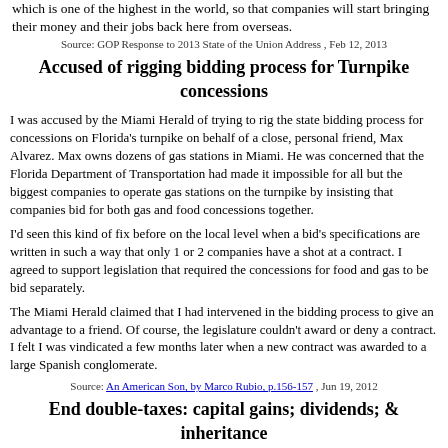which is one of the highest in the world, so that companies will start bringing their money and their jobs back here from overseas.
Source: GOP Response to 2013 State of the Union Address , Feb 12, 2013
Accused of rigging bidding process for Turnpike concessions
I was accused by the Miami Herald of trying to rig the state bidding process for concessions on Florida's turnpike on behalf of a close, personal friend, Max Alvarez. Max owns dozens of gas stations in Miami. He was concerned that the Florida Department of Transportation had made it impossible for all but the biggest companies to operate gas stations on the turnpike by insisting that companies bid for both gas and food concessions together.
I'd seen this kind of fix before on the local level when a bid's specifications are written in such a way that only 1 or 2 companies have a shot at a contract. I agreed to support legislation that required the concessions for food and gas to be bid separately.
The Miami Herald claimed that I had intervened in the bidding process to give an advantage to a friend. Of course, the legislature couldn't award or deny a contract. I felt I was vindicated a few months later when a new contract was awarded to a large Spanish conglomerate.
Source: An American Son, by Marco Rubio, p.156-157 , Jun 19, 2012
End double-taxes: capital gains; dividends; & inheritance